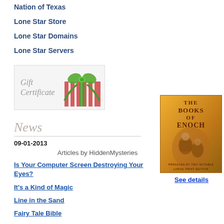Nation of Texas
Lone Star Store
Lone Star Domains
Lone Star Servers
[Figure (illustration): Gift Certificate banner with wrapped present and green ribbon bow]
News
09-01-2013
Articles by HiddenMysteries
Is Your Computer Screen Destroying Your Eyes?
It's a Kind of Magic
Line in the Sand
Fairy Tale Bible
[Figure (illustration): Book cover: The Books of Enoch, golden/orange background with figures]
See details